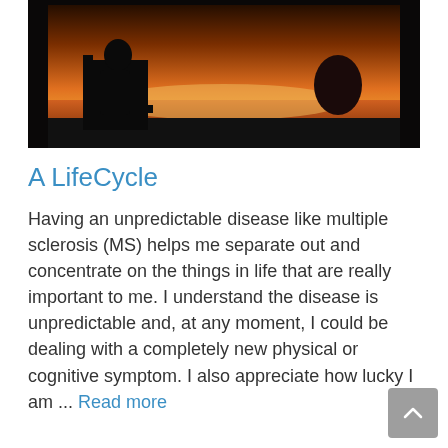[Figure (photo): Silhouette photo of a person sitting in a chair at sunset by water, warm orange and purple tones]
A LifeCycle
Having an unpredictable disease like multiple sclerosis (MS) helps me separate out and concentrate on the things in life that are really important to me. I understand the disease is unpredictable and, at any moment, I could be dealing with a completely new physical or cognitive symptom. I also appreciate how lucky I am ... Read more